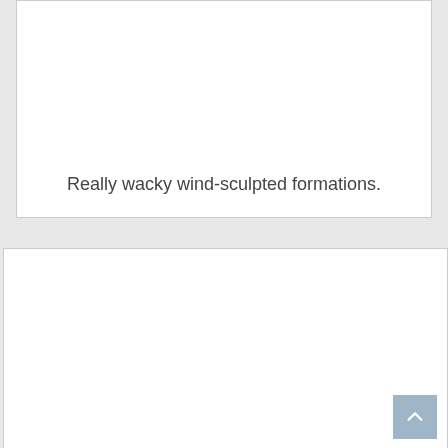[Figure (other): Top card showing partial content with caption text at the bottom: 'Really wacky wind-sculpted formations.']
Really wacky wind-sculpted formations.
[Figure (other): Bottom card showing a white content area, partially cut off, with a scroll-to-top button in the bottom right corner.]